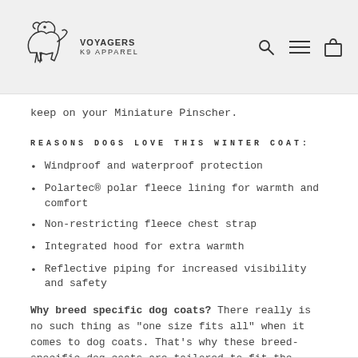[Figure (logo): Voyagers K9 Apparel logo with dog silhouette and brand name]
keep on your Miniature Pinscher.
REASONS DOGS LOVE THIS WINTER COAT:
Windproof and waterproof protection
Polartec® polar fleece lining for warmth and comfort
Non-restricting fleece chest strap
Integrated hood for extra warmth
Reflective piping for increased visibility and safety
Why breed specific dog coats? There really is no such thing as "one size fits all" when it comes to dog coats. That's why these breed-specific dog coats are tailored to fit the unique body shape and proportions of a Miniature Pinscher.